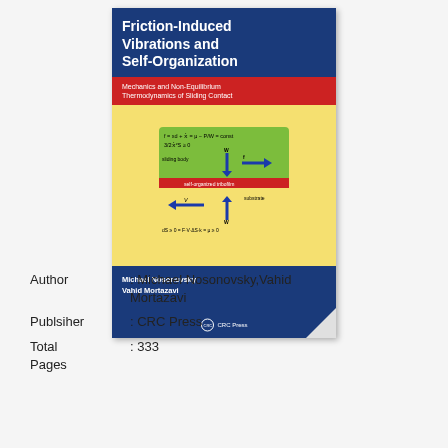[Figure (illustration): Book cover of 'Friction-Induced Vibrations and Self-Organization: Mechanics and Non-Equilibrium Thermodynamics of Sliding Contact' by Michael Nosonovsky and Vahid Mortazavi, published by CRC Press. The cover shows a dark blue top with white title text, a red bar with subtitle, a yellow diagram section showing sliding body/substrate equations and arrows, and a dark blue bottom with author names and CRC Press logo.]
Author : Michael Nosonovsky,Vahid Mortazavi
Publsiher : CRC Press
Total Pages : 333